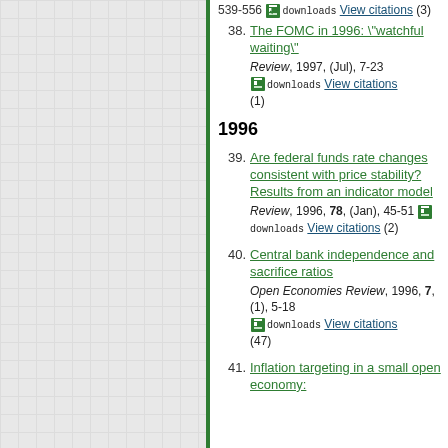[Figure (other): Left panel with grid pattern and green border]
(1996), 1997, 111, (Jul), 539-556 downloads View citations (3)
38. The FOMC in 1996: \"watchful waiting\" — Review, 1997, (Jul), 7-23 — downloads View citations (1)
1996
39. Are federal funds rate changes consistent with price stability? Results from an indicator model — Review, 1996, 78, (Jan), 45-51 — downloads View citations (2)
40. Central bank independence and sacrifice ratios — Open Economies Review, 1996, 7, (1), 5-18 — downloads View citations (47)
41. Inflation targeting in a small open economy: